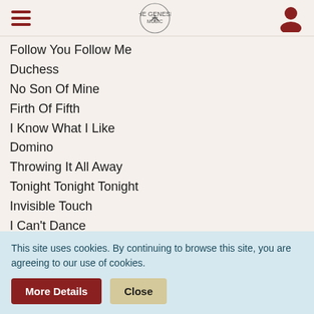[hamburger menu] [logo] [user icon]
Follow You Follow Me
Duchess
No Son Of Mine
Firth Of Fifth
I Know What I Like
Domino
Throwing It All Away
Tonight Tonight Tonight
Invisible Touch
I Can't Dance
Dancing With The Moonlit Knight
Carpet Crawlers
Abacab (edit)
Disc 1
This site uses cookies. By continuing to browse this site, you are agreeing to our use of cookies.